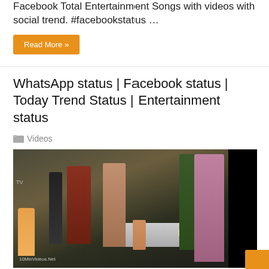Facebook Total Entertainment Songs with videos with social trend. #facebookstatus …
Read More »
WhatsApp status | Facebook status | Today Trend Status | Entertainment status
Videos
[Figure (photo): Screenshot of a movie scene showing several people standing on a street at night near a car, with a black bar on the right side. Watermark reads '10MinVideos.Net'.]
[ad_1] WhatsApp status | Facebook status | Today Trend Status | Entertainment status Click here to watch and subscribe. WhatsApp Status and